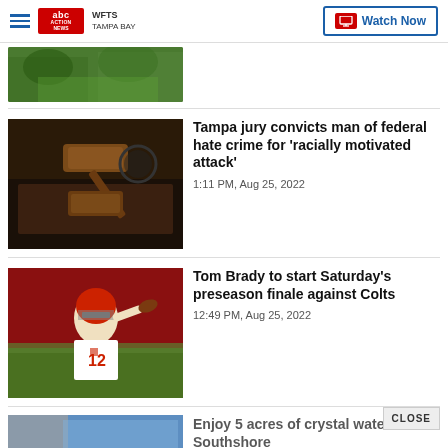WFTS Tampa Bay — Watch Now
[Figure (photo): Partial aerial or nature image at top of article feed]
[Figure (photo): Gavel and sound block on dark surface — courtroom/legal imagery]
Tampa jury convicts man of federal hate crime for 'racially motivated attack'
1:11 PM, Aug 25, 2022
[Figure (photo): Tom Brady in Tampa Bay Buccaneers uniform throwing a football]
Tom Brady to start Saturday's preseason finale against Colts
12:49 PM, Aug 25, 2022
Enjoy 5 acres of crystal water at Southshore
CLOSE
ADVERTISEMENT
[Figure (photo): La-Z-Boy Labor Day Sale advertisement banner — SAVE UP TO 30% OFF ON LA-Z-BOY FURNITURE*]